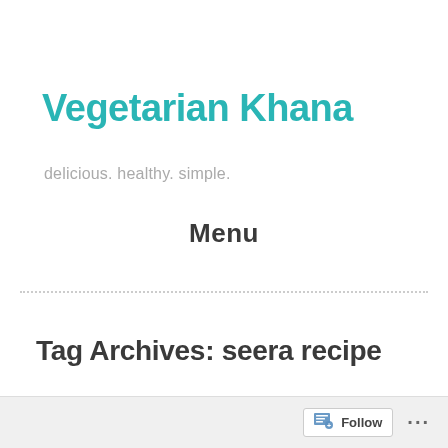Vegetarian Khana
delicious. healthy. simple.
Menu
Tag Archives: seera recipe
Follow ...